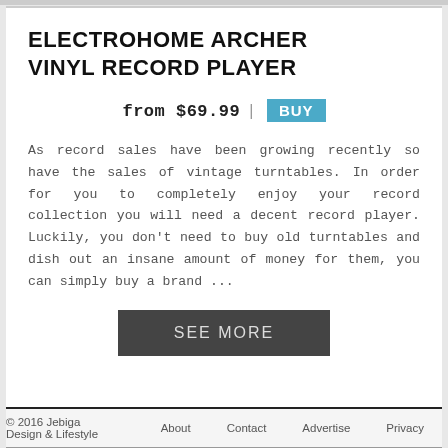ELECTROHOME ARCHER VINYL RECORD PLAYER
from $69.99 | BUY
As record sales have been growing recently so have the sales of vintage turntables. In order for you to completely enjoy your record collection you will need a decent record player. Luckily, you don't need to buy old turntables and dish out an insane amount of money for them, you can simply buy a brand ...
SEE MORE
© 2016 Jebiga Design & Lifestyle   About   Contact   Advertise   Privacy